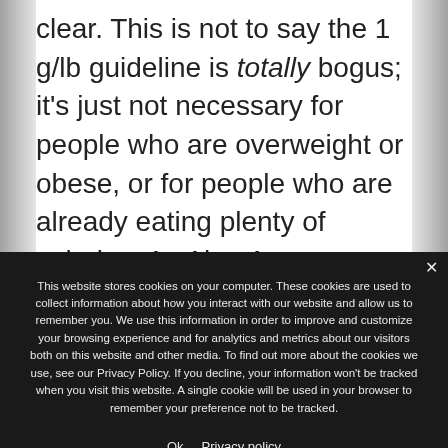clear. This is not to say the 1 g/lb guideline is totally bogus; it's just not necessary for people who are overweight or obese, or for people who are already eating plenty of calories. As Alan Aragon, an educator for the National Strength &
This website stores cookies on your computer. These cookies are used to collect information about how you interact with our website and allow us to remember you. We use this information in order to improve and customize your browsing experience and for analytics and metrics about our visitors both on this website and other media. To find out more about the cookies we use, see our Privacy Policy. If you decline, your information won't be tracked when you visit this website. A single cookie will be used in your browser to remember your preference not to be tracked.
Ok   Privacy policy